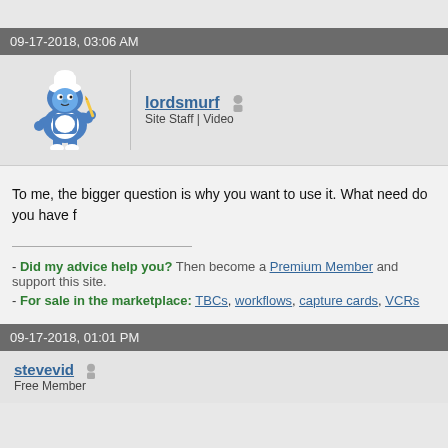09-17-2018, 03:06 AM
lordsmurf  Site Staff | Video
To me, the bigger question is why you want to use it. What need do you have f
- Did my advice help you? Then become a Premium Member and support this site.
- For sale in the marketplace: TBCs, workflows, capture cards, VCRs
09-17-2018, 01:01 PM
stevevid  Free Member